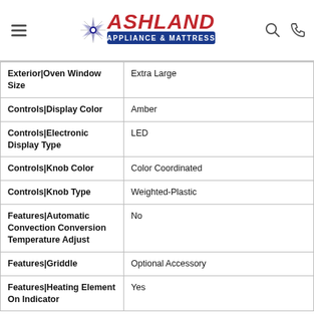[Figure (logo): Ashland Appliance & Mattress logo with red star and stylized text]
| Attribute | Value |
| --- | --- |
| Exterior|Oven Window Size | Extra Large |
| Controls|Display Color | Amber |
| Controls|Electronic Display Type | LED |
| Controls|Knob Color | Color Coordinated |
| Controls|Knob Type | Weighted-Plastic |
| Features|Automatic Convection Conversion Temperature Adjust | No |
| Features|Griddle | Optional Accessory |
| Features|Heating Element On Indicator | Yes |